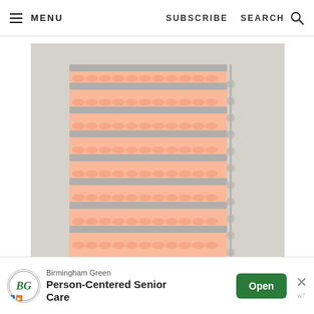MENU   SUBSCRIBE   SEARCH
[Figure (photo): A crocheted baby blanket with alternating peach/salmon and light gray stripes in a shell/fan stitch pattern, with a decorative bobble or picot edging along the right side, photographed on a light gray background.]
Birmingham Green
Person-Centered Senior Care
Open
×